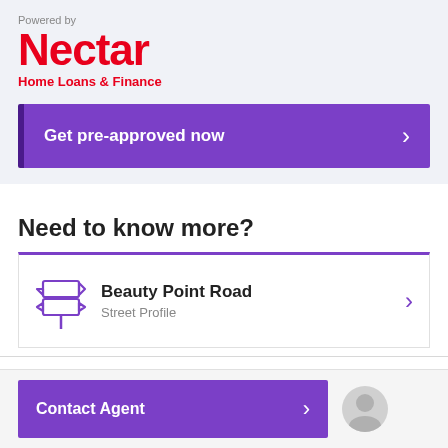[Figure (logo): Nectar Home Loans & Finance logo with 'Powered by' text above]
Get pre-approved now
Need to know more?
Beauty Point Road
Street Profile
Contact Agent